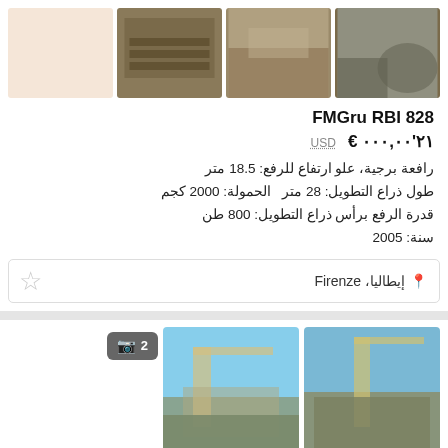[Figure (photo): Row of 4 thumbnail photos: placeholder beige box, three crane/construction equipment photos]
FMGru RBI 828
€ ٢١'٠٠٠,٠٠  USD
رافعة برجية، علو ارتفاع للرفع: 18.5 متر
طول ذراع التطويل: 28 متر  الحمولة: 2000 كجم
قدرة الرفع برأس ذراع التطويل: 800 طن
سنة: 2005
إيطاليا، Firenze
[Figure (photo): Two photos of tower crane against blue sky with building, badge showing camera icon and number 2]